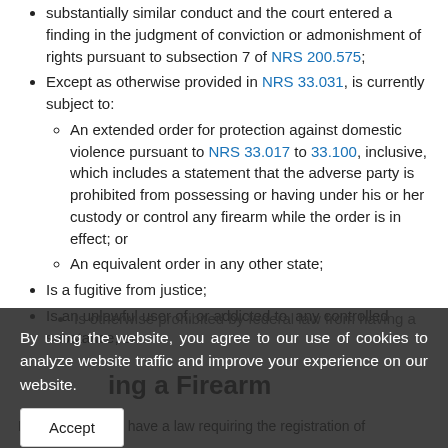substantially similar conduct and the court entered a finding in the judgment of conviction or admonishment of rights pursuant to subsection 7 of NRS 200.575;
Except as otherwise provided in NRS 33.031, is currently subject to:
An extended order for protection against domestic violence pursuant to NRS 33.017 to 33.100, inclusive, which includes a statement that the adverse party is prohibited from possessing or having under his or her custody or control any firearm while the order is in effect; or
An equivalent order in any other state;
Is a fugitive from justice;
Is an unlawful user of, or addicted to, any controlled substance; or
Is otherwise prohibited by federal law from having a
By using the website, you agree to our use of cookies to analyze website traffic and improve your experience on our website.
Registering a Firearm
Nevada does not have a law requiring the registration of